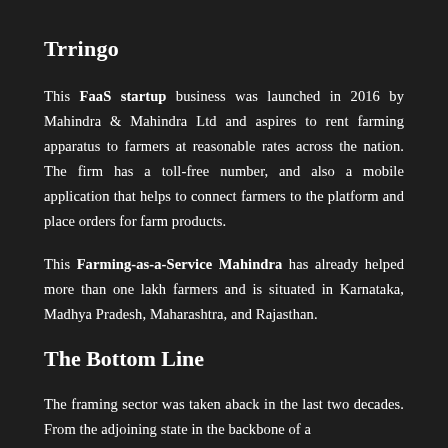Trringo
This FaaS startup business was launched in 2016 by Mahindra & Mahindra Ltd and aspires to rent farming apparatus to farmers at reasonable rates across the nation. The firm has a toll-free number, and also a mobile application that helps to connect farmers to the platform and place orders for farm products.
This Farming-as-a-Service Mahindra has already helped more than one lakh farmers and is situated in Karnataka, Madhya Pradesh, Maharashtra, and Rajasthan.
The Bottom Line
The framing sector was taken aback in the last two decades. From the adjoining state in the backbone of a